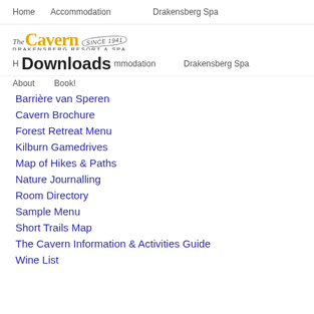Home   Accommodation   Drakensberg Spa
[Figure (logo): The Cavern Drakensberg Resort & Spa logo with 'Since 1941' banner]
Home   Accommodation   Drakensberg Spa   About   Book!
Downloads
Barrière van Speren
Cavern Brochure
Forest Retreat Menu
Kilburn Gamedrives
Map of Hikes & Paths
Nature Journalling
Room Directory
Sample Menu
Short Trails Map
The Cavern Information & Activities Guide
Wine List